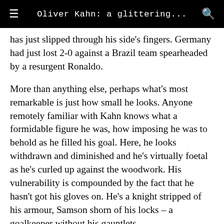Oliver Kahn: a glittering…
has just slipped through his side's fingers. Germany had just lost 2-0 against a Brazil team spearheaded by a resurgent Ronaldo.
More than anything else, perhaps what's most remarkable is just how small he looks. Anyone remotely familiar with Kahn knows what a formidable figure he was, how imposing he was to behold as he filled his goal. Here, he looks withdrawn and diminished and he's virtually foetal as he's curled up against the woodwork. His vulnerability is compounded by the fact that he hasn't got his gloves on. He's a knight stripped of his armour, Samson shorn of his locks – a goalkeeper without his gauntlets.